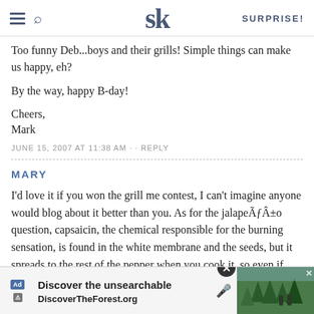SK — SURPRISE!
Too funny Deb...boys and their grills! Simple things can make us happy, eh?
By the way, happy B-day!
Cheers,
Mark
JUNE 15, 2007 AT 11:38 AM · · REPLY
MARY
I'd love it if you won the grill me contest, I can't imagine anyone would blog about it better than you. As for the jalapeÃƒÂ±o question, capsaicin, the chemical responsible for the burning sensation, is found in the white membrane and the seeds, but it spreads to the rest of the pepper when you cook it, so even if you remove the membrane and the seeds after cookin quite a bit of the … of
[Figure (screenshot): Ad overlay: 'Discover the unsearchable' / DiscoverTheForest.org with forest background image and close button]